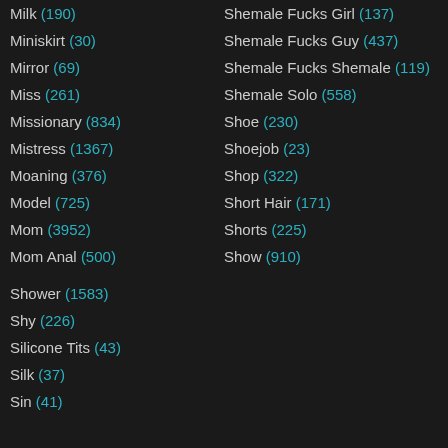Milk (190)
Shemale Fucks Girl (137)
Miniskirt (30)
Shemale Fucks Guy (437)
Mirror (69)
Shemale Fucks Shemale (119)
Miss (261)
Shemale Solo (558)
Missionary (834)
Shoe (230)
Mistress (1367)
Shoejob (23)
Moaning (376)
Shop (322)
Model (725)
Short Hair (171)
Mom (3952)
Shorts (225)
Mom Anal (500)
Show (910)
Shower (1583)
Shy (226)
Silicone Tits (43)
Silk (37)
Sin (41)